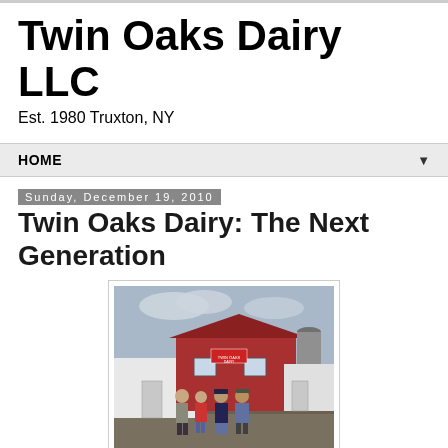Twin Oaks Dairy LLC
Est. 1980 Truxton, NY
HOME ▼
Sunday, December 19, 2010
Twin Oaks Dairy: The Next Generation
[Figure (photo): Four people standing in front of a red and white barn with a Twin Oaks Dairy sign. Overcast sky.]
At Twin Oaks Dairy there have been many transitions over